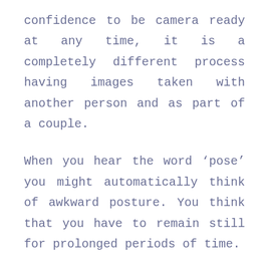confidence to be camera ready at any time, it is a completely different process having images taken with another person and as part of a couple.
When you hear the word ‘pose’ you might automatically think of awkward posture. You think that you have to remain still for prolonged periods of time.
For most engagement or wedding photoshoots, the idea of posing is more